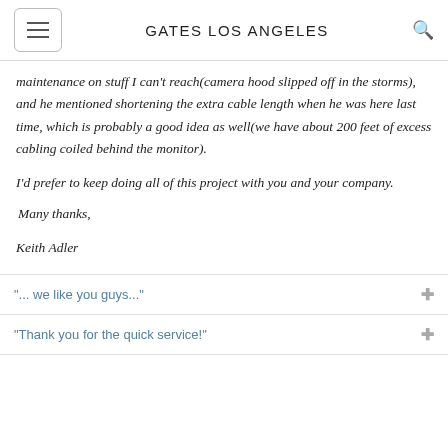GATES LOS ANGELES
maintenance on stuff I can't reach(camera hood slipped off in the storms), and he mentioned shortening the extra cable length when he was here last time, which is probably a good idea as well(we have about 200 feet of excess cabling coiled behind the monitor).
I'd prefer to keep doing all of this project with you and your company.
Many thanks,
Keith Adler
"... we like you guys..."
"Thank you for the quick service!"